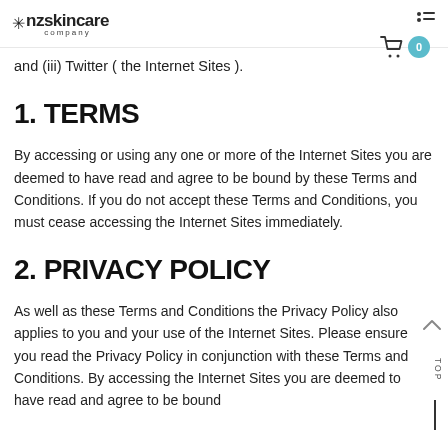nzskincare company
and (iii) Twitter ( the Internet Sites ).
1. TERMS
By accessing or using any one or more of the Internet Sites you are deemed to have read and agree to be bound by these Terms and Conditions. If you do not accept these Terms and Conditions, you must cease accessing the Internet Sites immediately.
2. PRIVACY POLICY
As well as these Terms and Conditions the Privacy Policy also applies to you and your use of the Internet Sites. Please ensure you read the Privacy Policy in conjunction with these Terms and Conditions. By accessing the Internet Sites you are deemed to have read and agree to be bound by the Privacy Policy and these Terms and Conditions.